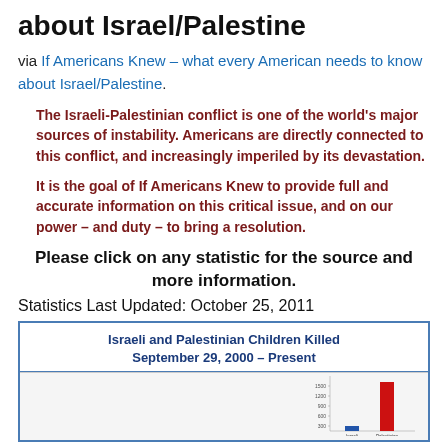about Israel/Palestine
via If Americans Knew – what every American needs to know about Israel/Palestine.
The Israeli-Palestinian conflict is one of the world's major sources of instability. Americans are directly connected to this conflict, and increasingly imperiled by its devastation.
It is the goal of If Americans Knew to provide full and accurate information on this critical issue, and on our power – and duty – to bring a resolution.
Please click on any statistic for the source and more information.
Statistics Last Updated: October 25, 2011
[Figure (bar-chart): Bar chart showing Israeli and Palestinian children killed since September 29, 2000 to present, with a small blue bar and a much taller red bar]